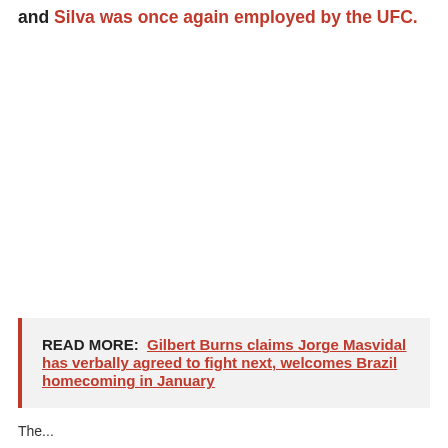and Silva was once again employed by the UFC.
READ MORE:  Gilbert Burns claims Jorge Masvidal has verbally agreed to fight next, welcomes Brazil homecoming in January
The...